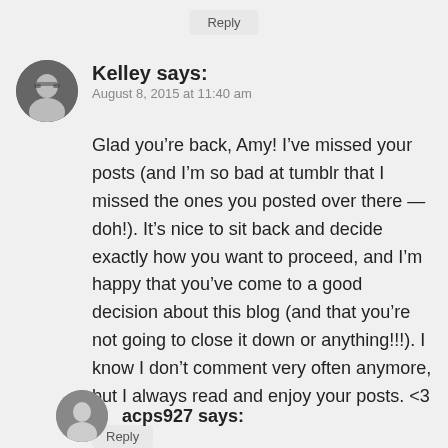Reply
Kelley says:
August 8, 2015 at 11:40 am
Glad you’re back, Amy! I’ve missed your posts (and I’m so bad at tumblr that I missed the ones you posted over there — doh!). It’s nice to sit back and decide exactly how you want to proceed, and I’m happy that you’ve come to a good decision about this blog (and that you’re not going to close it down or anything!!!). I know I don’t comment very often anymore, but I always read and enjoy your posts. <3
Reply
acps927 says: